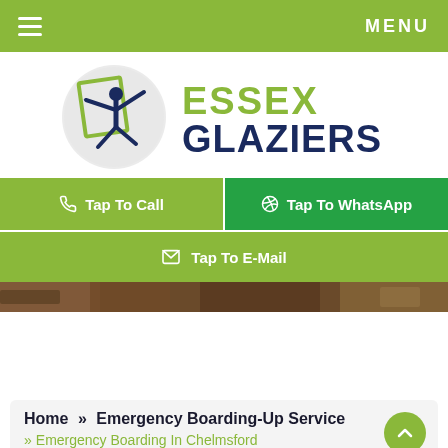≡  MENU
[Figure (logo): Essex Glaziers logo: circular grey badge with stylized person holding a window pane, beside bold text ESSEX GLAZIERS in olive/navy colors]
📞 Tap To Call
🔵 Tap To WhatsApp
✉ Tap To E-Mail
[Figure (photo): Partial view of wooden window frames, dark interior background]
Home » Emergency Boarding-Up Service
» Emergency Boarding In Chelmsford